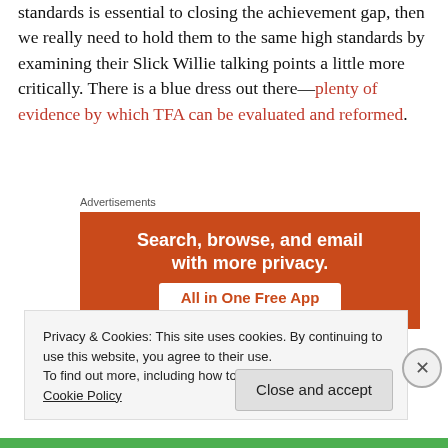standards is essential to closing the achievement gap, then we really need to hold them to the same high standards by examining their Slick Willie talking points a little more critically. There is a blue dress out there—plenty of evidence by which TFA can be evaluated and reformed.
Advertisements
[Figure (other): Orange advertisement banner reading 'Search, browse, and email with more privacy. All in One Free App']
Privacy & Cookies: This site uses cookies. By continuing to use this website, you agree to their use.
To find out more, including how to control cookies, see here: Cookie Policy
Close and accept